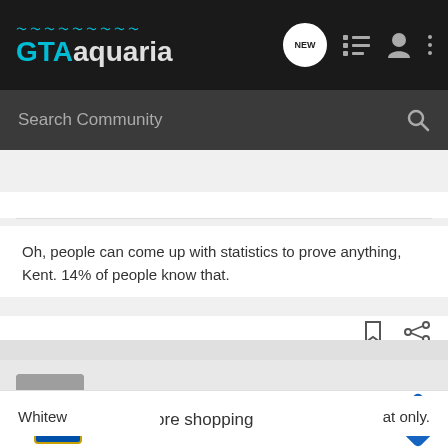[Figure (logo): GTAaquaria logo with teal wavy lines above text on dark background]
Search Community
Oh, people can come up with statistics to prove anything, Kent. 14% of people know that.
[Figure (photo): User avatar showing striped fish]
characinfan · Eats plants too 🇨🇦
Joined Dec 23, 2008 · 1,395 Posts
#13 · Jun 7, 2010
Whitew... at only.
[Figure (screenshot): Lidl advertisement banner: In-store shopping]